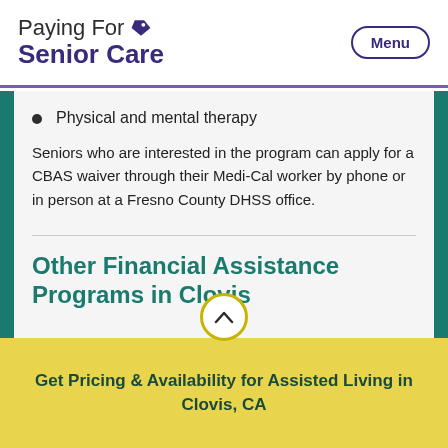Paying For Senior Care | Menu
Physical and mental therapy
Seniors who are interested in the program can apply for a CBAS waiver through their Medi-Cal worker by phone or in person at a Fresno County DHSS office.
Other Financial Assistance Programs in Clovis
Get Pricing & Availability for Assisted Living in Clovis, CA